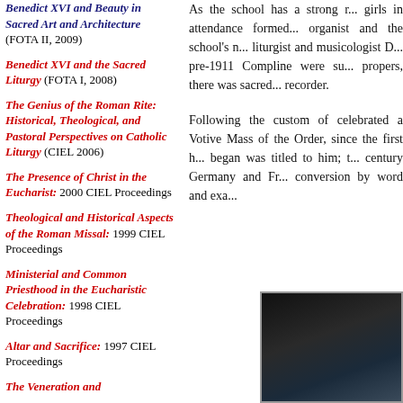Benedict XVI and Beauty in Sacred Art and Architecture (FOTA II, 2009)
Benedict XVI and the Sacred Liturgy (FOTA I, 2008)
The Genius of the Roman Rite: Historical, Theological, and Pastoral Perspectives on Catholic Liturgy (CIEL 2006)
The Presence of Christ in the Eucharist: 2000 CIEL Proceedings
Theological and Historical Aspects of the Roman Missal: 1999 CIEL Proceedings
Ministerial and Common Priesthood in the Eucharistic Celebration: 1998 CIEL Proceedings
Altar and Sacrifice: 1997 CIEL Proceedings
The Veneration and
As the school has a strong r... girls in attendance formed... organist and the school's n... liturgist and musicologist D... pre-1911 Compline were su... propers, there was sacred... recorder.
Following the custom of... celebrated a Votive Mass of... the Order, since the first h... began was titled to him; t... century Germany and Fr... conversion by word and exa...
[Figure (photo): Dark photograph, partially visible, showing a figure in dark clothing with a hint of blue/white at the bottom right.]